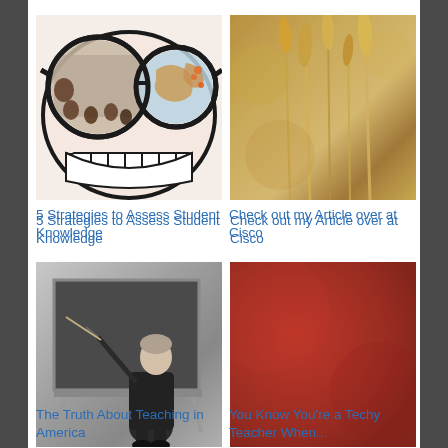[Figure (illustration): Cartoon face with big glasses showing children in classroom and globe/map, with big grin teeth below]
5 Strategies to Assess Student Knowledge
[Figure (photo): Close-up photo of golden wheat or grass stalks with blurred background]
Check out my Article over at Cisco
[Figure (photo): Black and white photo of a female teacher at a chalkboard holding a pointer stick]
The Truth About Teaching in America
[Figure (photo): Red textured surface, solid red background]
You Know You're a Techy Teacher When...